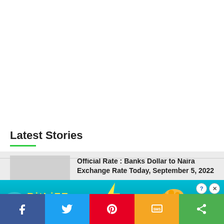Latest Stories
Official Rate : Banks Dollar to Naira Exchange Rate Today, September 5, 2022
[Figure (screenshot): BitLife NOW WITH GOD MODE advertisement banner with cyan background, yellow sperm logo, and pointing hand graphic]
[Figure (other): Social sharing bar with Facebook, Twitter, Pinterest, SMS, and share buttons]